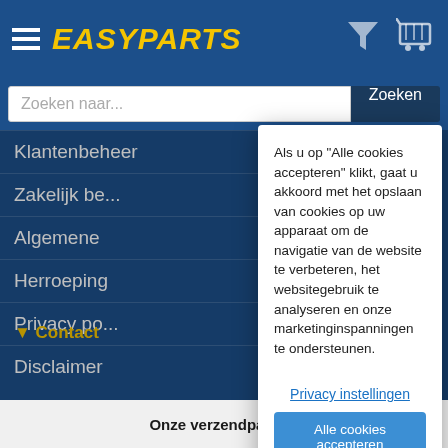EasyParts
Zoeken naar...
Zoeken
Klantenbeheer
Zakelijk be...
Algemene
Heroeping
Privacy po...
Disclaimer
▲ Volg ons
Blijf op de hoog...
f
▼ Contact
Als u op "Alle cookies accepteren" klikt, gaat u akkoord met het opslaan van cookies op uw apparaat om de navigatie van de website te verbeteren, het websitegebruik te analyseren en onze marketinginspanningen te ondersteunen.
Privacy instellingen
Alle cookies accepteren
Onze verzendpartner